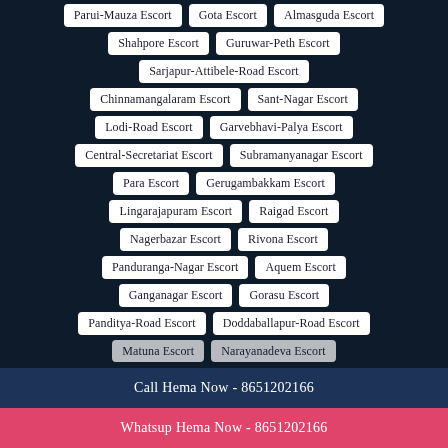Parui-Mauza Escort
Gota Escort
Almasguda Escort
Shahpore Escort
Guruwar-Peth Escort
Sarjapur-Attibele-Road Escort
Chinnamangalaram Escort
Sant-Nagar Escort
Lodi-Road Escort
Garvebhavi-Palya Escort
Central-Secretariat Escort
Subramanyanagar Escort
Para Escort
Gerugambakkam Escort
Lingarajapuram Escort
Raigad Escort
Nagerbazar Escort
Rivona Escort
Panduranga-Nagar Escort
Aquem Escort
Ganganagar Escort
Gorasu Escort
Panditya-Road Escort
Doddaballapur-Road Escort
Call Hema Now - 8651202166
Whatsup Hema Now - 8651202166